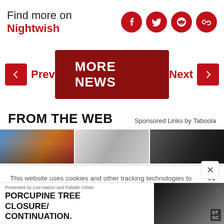Find more on Nightwish
[Figure (other): Social media icons: Facebook, Twitter, Reddit, Link]
< Prev   MORE NEWS   Next >
FROM THE WEB
Sponsored Links by Taboola
[Figure (photo): Three thumbnail images from the web]
This website uses cookies and other tracking technologies to enhance user experience and to analyze performance and traffic on our website. Information about your use of our site may also be shared with social media, advertising, retail and analytics providers and partners. Privacy Policy
Presented by Live Nation and Paladin Artists
PORCUPINE TREE CLOSURE/CONTINUATION.